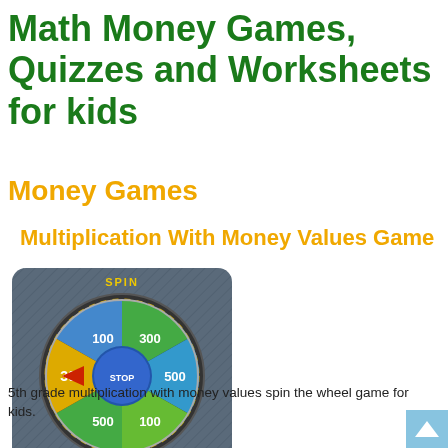Math Money Games, Quizzes and Worksheets for kids
Money Games
Multiplication With Money Values Game
[Figure (illustration): A spin-the-wheel game showing a colorful wheel divided into segments with values 100, 300, 500, 300, 500, 100. The wheel has a blue center button labeled STOP and a red arrow pointer. The background is dark gray/slate colored. Yellow text at top reads SPIN.]
5th grade multiplication with money values spin the wheel game for kids.